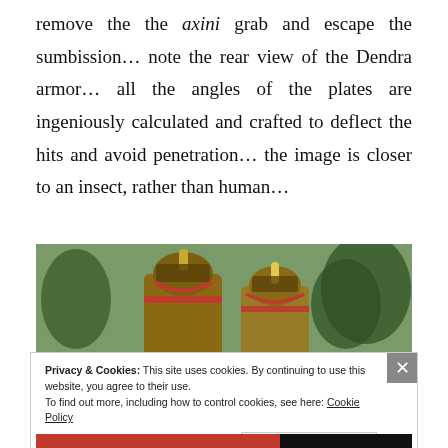remove the the axini grab and escape the sumbission… note the rear view of the Dendra armor… all the angles of the plates are ingeniously calculated and crafted to deflect the hits and avoid penetration… the image is closer to an insect, rather than human…
[Figure (photo): Two people wearing ancient Mycenaean Dendra-style armor (bronze plate armor with helmets including horns and plumes) photographed outdoors among olive trees.]
Privacy & Cookies: This site uses cookies. By continuing to use this website, you agree to their use.
To find out more, including how to control cookies, see here: Cookie Policy
Κλείσιμο και αποδοχή